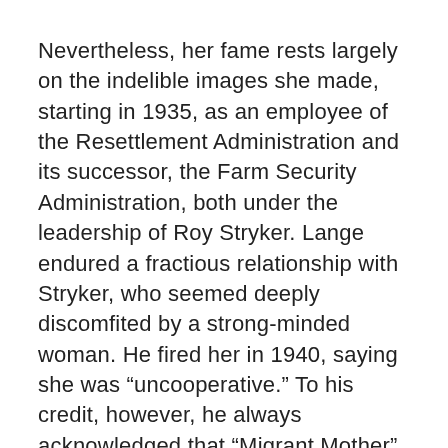Nevertheless, her fame rests largely on the indelible images she made, starting in 1935, as an employee of the Resettlement Administration and its successor, the Farm Security Administration, both under the leadership of Roy Stryker. Lange endured a fractious relationship with Stryker, who seemed deeply discomfited by a strong-minded woman. He fired her in 1940, saying she was “uncooperative.” To his credit, however, he always acknowledged that “Migrant Mother” was the key image of the Depression.
Seeking a deeper understanding of the economic crisis, Lange and her collaborators in the field interviewed her subjects, and she incorporated their words into her captions. She was the first photographer to do that systematically. The show’s curator, Sarah Hermanson